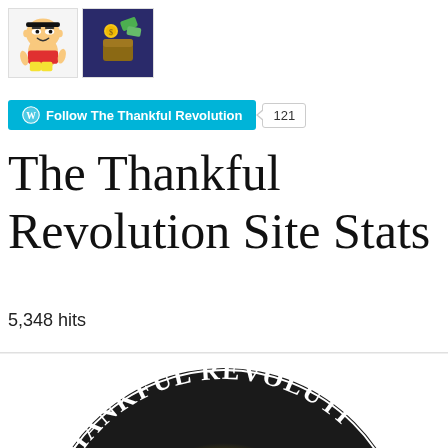[Figure (illustration): Two small thumbnail images side by side: a cartoon character (Shinchan) on the left, and a money/wallet themed dark blue graphic on the right.]
Follow The Thankful Revolution  121
The Thankful Revolution Site Stats
5,348 hits
[Figure (logo): Circular logo reading 'THE THANKFUL REVOLUTION' in arched text around a center image of a cross and sunburst with text 'LEARN MORE BY VISITING, SUBSCRIBING, SHARING AND LIKING US AT OUR WEBSITE BELOW:' and 'C.P.R. N.O.W.' — only the top half of the logo is visible.]